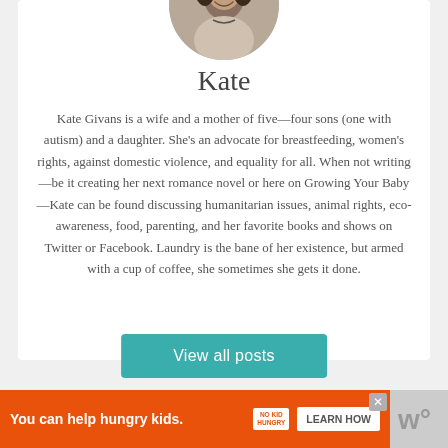[Figure (photo): Circular profile photo of Kate, a woman with dark curly hair, smiling]
Kate
Kate Givans is a wife and a mother of five—four sons (one with autism) and a daughter. She's an advocate for breastfeeding, women's rights, against domestic violence, and equality for all. When not writing—be it creating her next romance novel or here on Growing Your Baby—Kate can be found discussing humanitarian issues, animal rights, eco-awareness, food, parenting, and her favorite books and shows on Twitter or Facebook. Laundry is the bane of her existence, but armed with a cup of coffee, she sometimes she gets it done.
View all posts
You can help hungry kids.  NO KID HUNGRY  LEARN HOW